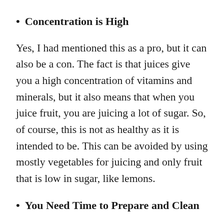Concentration is High
Yes, I had mentioned this as a pro, but it can also be a con. The fact is that juices give you a high concentration of vitamins and minerals, but it also means that when you juice fruit, you are juicing a lot of sugar. So, of course, this is not as healthy as it is intended to be. This can be avoided by using mostly vegetables for juicing and only fruit that is low in sugar, like lemons.
You Need Time to Prepare and Clean